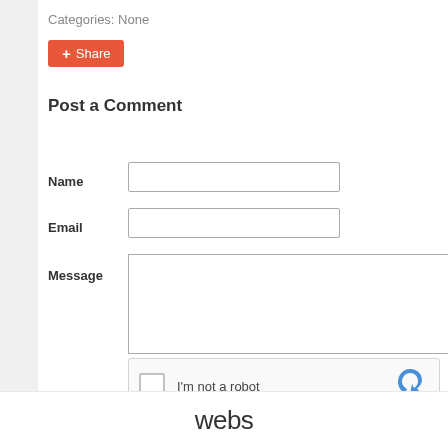Categories: None
Share
Post a Comment
Name
Email
Message
I'm not a robot
webs